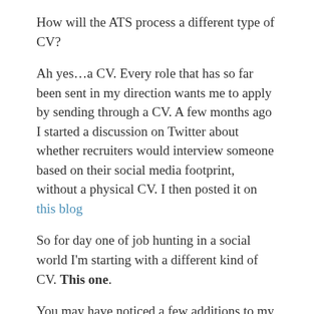How will the ATS process a different type of CV?
Ah yes…a CV. Every role that has so far been sent in my direction wants me to apply by sending through a CV. A few months ago I started a discussion on Twitter about whether recruiters would interview someone based on their social media footprint, without a physical CV. I then posted it on this blog
So for day one of job hunting in a social world I'm starting with a different kind of CV. This one.
You may have noticed a few additions to my blog. As well as my stream of thoughts and observations you can now…
Find out some more about me